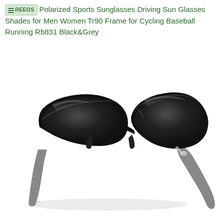REEOS Polarized Sports Sunglasses Driving Sun Glasses Shades for Men Women Tr90 Frame for Cycling Baseball Running Rb831 Black&Grey
[Figure (photo): A pair of black and grey polarized sports sunglasses (REEOS Rb831) shown in a 3/4 angle view on a white background. The sunglasses have a black wraparound frame with grey rubber temple arms.]